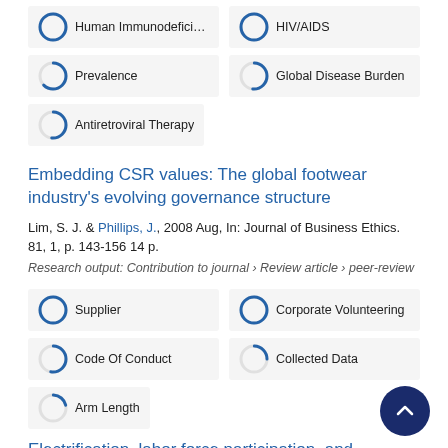Human Immunodeficiency Viru... | HIV/AIDS | Prevalence | Global Disease Burden | Antiretroviral Therapy
Embedding CSR values: The global footwear industry's evolving governance structure
Lim, S. J. & Phillips, J., 2008 Aug, In: Journal of Business Ethics. 81, 1, p. 143-156 14 p.
Research output: Contribution to journal › Review article › peer-review
Supplier | Corporate Volunteering | Code Of Conduct | Collected Data | Arm Length
Electrification, labor force participation, and perceived social status for women in rural China